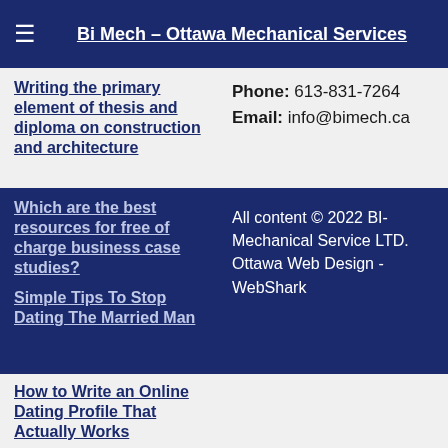Bi Mech – Ottawa Mechanical Services
Writing the primary element of thesis and diploma on construction and architecture
Phone: 613-831-7264
Email: info@bimech.ca
Which are the best resources for free of charge business case studies?
Simple Tips To Stop Dating The Married Man
All content © 2022 BI-Mechanical Service LTD. Ottawa Web Design - WebShark
How to Write an Online Dating Profile That Actually Works
Foot robotic